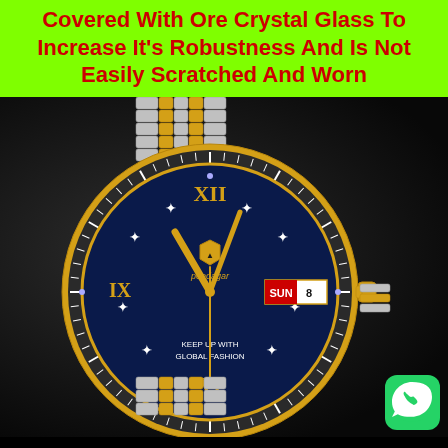Covered With Ore Crystal Glass To Increase It's Robustness And Is Not Easily Scratched And Worn
[Figure (photo): A luxury men's wristwatch (Poedagar brand) with a navy blue dial, gold and silver stainless steel bracelet band, Roman numeral XII at top, diamond-style hour markers, day-date window showing SUN 8, gold hands, minute track bezel, and text 'KEEP UP WITH GLOBAL FASHION' on the dial.]